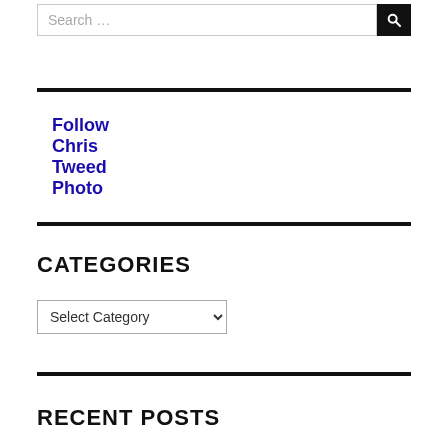Search …
Follow Chris Tweed Photo
CATEGORIES
Select Category
RECENT POSTS